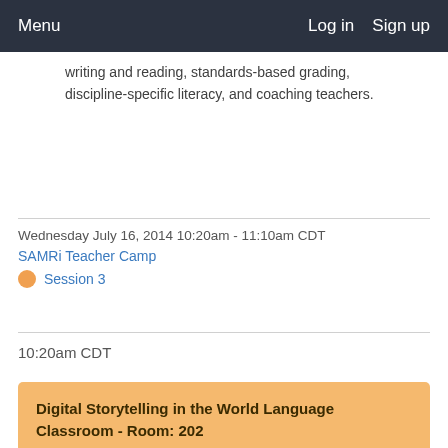Menu   Log in   Sign up
writing and reading, standards-based grading, discipline-specific literacy, and coaching teachers.
Wednesday July 16, 2014 10:20am - 11:10am CDT
SAMRi Teacher Camp
Session 3
10:20am CDT
Digital Storytelling in the World Language Classroom - Room: 202